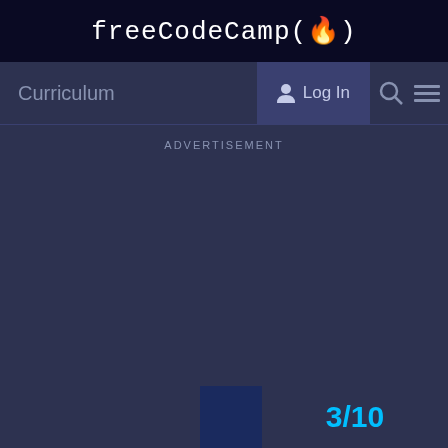freeCodeCamp(🔥)
Curriculum
Log In
ADVERTISEMENT
3/10